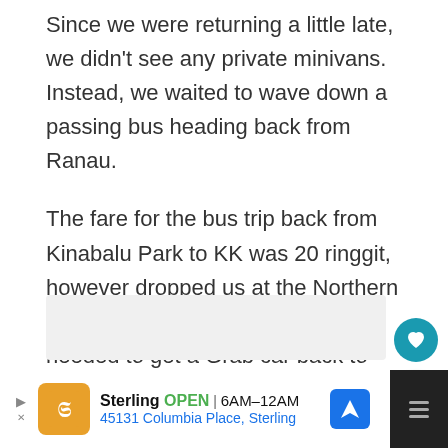Since we were returning a little late, we didn't see any private minivans. Instead, we waited to wave down a passing bus heading back from Ranau.
The fare for the bus trip back from Kinabalu Park to KK was 20 ringgit, however dropped us at the Northern Bus Terminal (Inanam). We then needed to get a Grab car back to our hostel, which was only an additional 10 ringgit.
[Figure (other): Gray placeholder content box below the main text]
[Figure (other): Heart (favorite) floating action button - teal circle with heart icon]
[Figure (other): Share floating action button - white circle with share icon]
Sterling OPEN 6AM–12AM 45131 Columbia Place, Sterling — advertisement bar